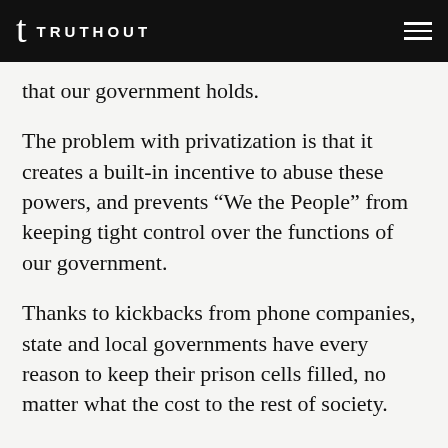TRUTHOUT
that our government holds.
The problem with privatization is that it creates a built-in incentive to abuse these powers, and prevents “We the People” from keeping tight control over the functions of our government.
Thanks to kickbacks from phone companies, state and local governments have every reason to keep their prison cells filled, no matter what the cost to the rest of society.
And when there’s so much money to be made